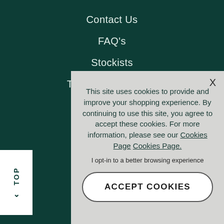Contact Us
FAQ's
Stockists
Terms & Conditions
Privacy Policy
↑ TOP
This site uses cookies to provide and improve your shopping experience. By continuing to use this site, you agree to accept these cookies. For more information, please see our Cookies Page Cookies Page.
I opt-in to a better browsing experience
ACCEPT COOKIES